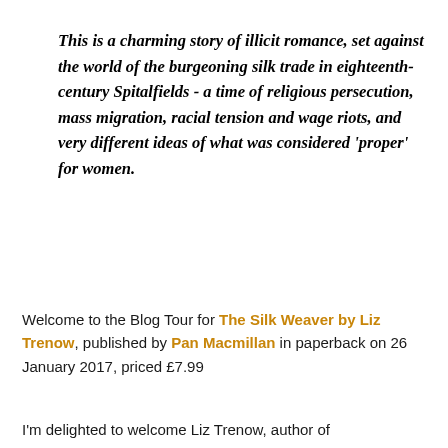This is a charming story of illicit romance, set against the world of the burgeoning silk trade in eighteenth-century Spitalfields - a time of religious persecution, mass migration, racial tension and wage riots, and very different ideas of what was considered 'proper' for women.
Welcome to the Blog Tour for The Silk Weaver by Liz Trenow, published by Pan Macmillan in paperback on 26 January 2017, priced £7.99
I'm delighted to welcome Liz Trenow, author of